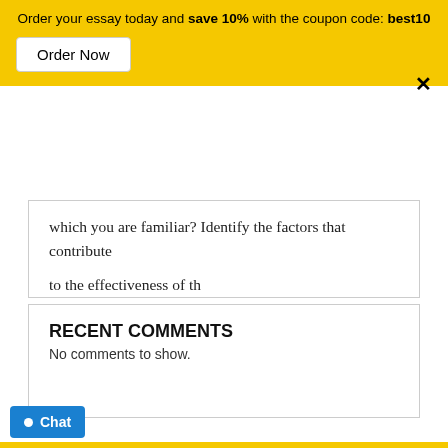Order your essay today and save 10% with the coupon code: best10
Order Now
which you are familiar? Identify the factors that contribute to the effectiveness of th
Course: ENG201 – The Power of Persuasion Assignment 3: Fleshing Out Your Proposal Skill(s) Being Assessed: Communication (Writing) Criteria for Success: In this assignment, you will: Create an introdu
RECENT COMMENTS
No comments to show.